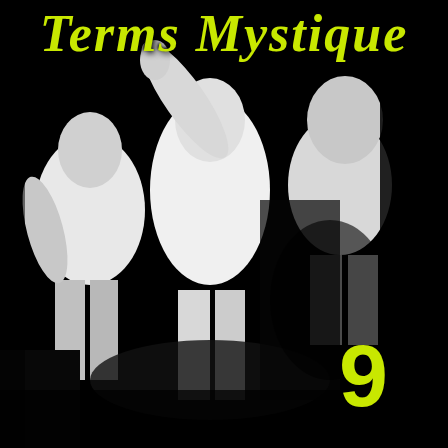[Figure (illustration): High-contrast black and white photograph of three figures/people in dramatic poses against a black background, resembling a punk or gothic album cover aesthetic]
Terms Mystique
9